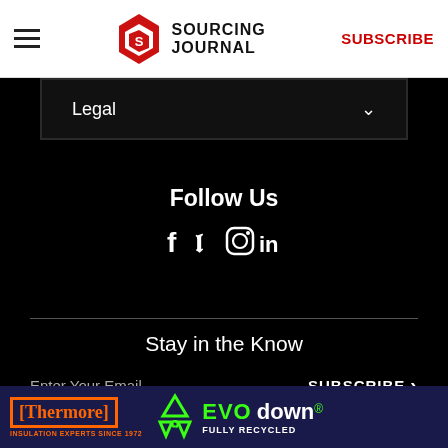Sourcing Journal | SUBSCRIBE
Legal
Follow Us
[Figure (infographic): Social media icons: Facebook (f), Twitter bird, Instagram camera, LinkedIn (in)]
Stay in the Know
Enter Your Email  SUBSCRIBE
[Figure (infographic): Thermore and EVO down advertisement banner. Thermore - Insulation Experts Since 1972. EVO down - Fully Recycled.]